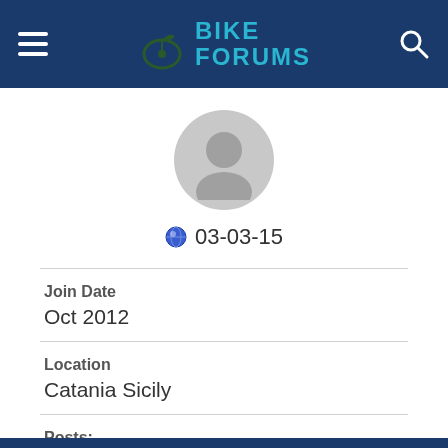BIKE FORUMS
[Figure (illustration): Generic user avatar circle with person silhouette]
03-03-15
Join Date
Oct 2012
Location
Catania Sicily
Posts:
89
Likes: 0
Liked 0 Times in 0 Posts